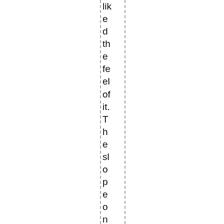liked the feel of it. The slope on the back is 1 to 4. Th